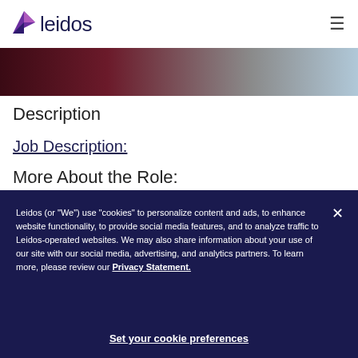[Figure (logo): Leidos company logo with purple/dark blue triangle arrow and 'leidos' text]
[Figure (photo): Hero banner image with dark red, grey, and blue tones]
Description
Job Description:
More About the Role:
Leidos (or "We") use "cookies" to personalize content and ads, to enhance website functionality, to provide social media features, and to analyze traffic to Leidos-operated websites. We may also share information about your use of our site with our social media, advertising, and analytics partners. To learn more, please review our Privacy Statement.
Set your cookie preferences